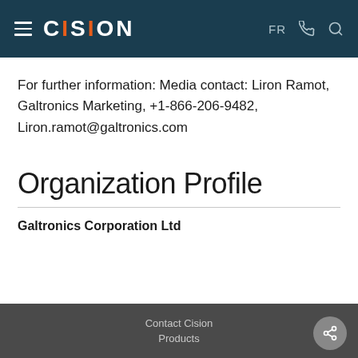CISION — FR [phone] [search]
For further information: Media contact: Liron Ramot, Galtronics Marketing, +1-866-206-9482, Liron.ramot@galtronics.com
Organization Profile
Galtronics Corporation Ltd
Contact Cision
Products